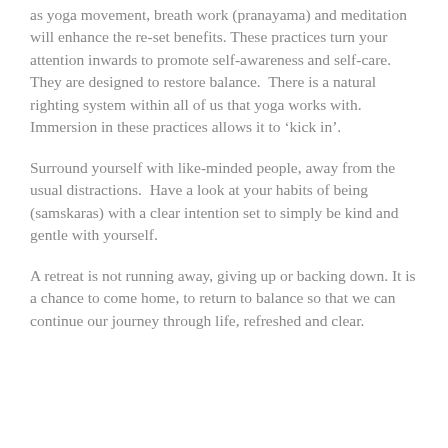as yoga movement, breath work (pranayama) and meditation will enhance the re-set benefits. These practices turn your attention inwards to promote self-awareness and self-care.  They are designed to restore balance.  There is a natural righting system within all of us that yoga works with.  Immersion in these practices allows it to 'kick in'.
Surround yourself with like-minded people, away from the usual distractions.  Have a look at your habits of being (samskaras) with a clear intention set to simply be kind and gentle with yourself.
A retreat is not running away, giving up or backing down. It is a chance to come home, to return to balance so that we can continue our journey through life, refreshed and clear.